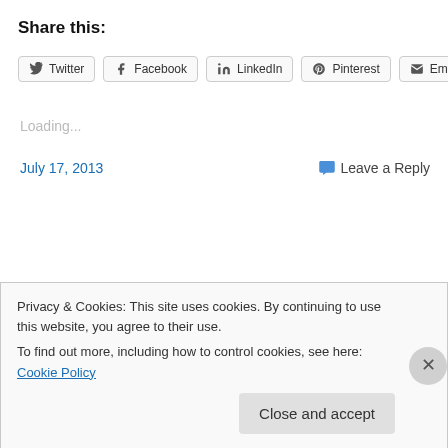Share this:
[Figure (infographic): Social share buttons: Twitter, Facebook, LinkedIn, Pinterest, Email]
Loading...
July 17, 2013        Leave a Reply
Privacy & Cookies: This site uses cookies. By continuing to use this website, you agree to their use. To find out more, including how to control cookies, see here: Cookie Policy
Close and accept